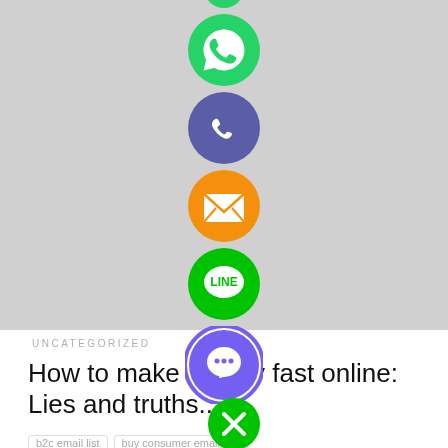[Figure (illustration): A vertical column of social sharing app icons (WhatsApp green, phone/Viber purple, email orange, LINE green, Viber purple, close green X) overlapping a gray image placeholder area and white content area below]
UNCATEGORIZED
How to make money fast online: Lies and truths...
b2c email list   buy consumer email list